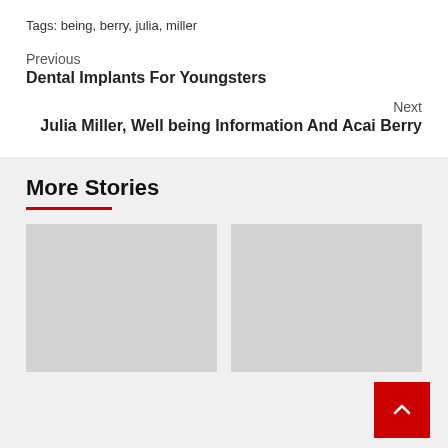Tags: being, berry, julia, miller
Previous
Dental Implants For Youngsters
Next
Julia Miller, Well being Information And Acai Berry
More Stories
[Figure (photo): Left thumbnail placeholder image (gray box)]
[Figure (photo): Right thumbnail placeholder image (gray box)]